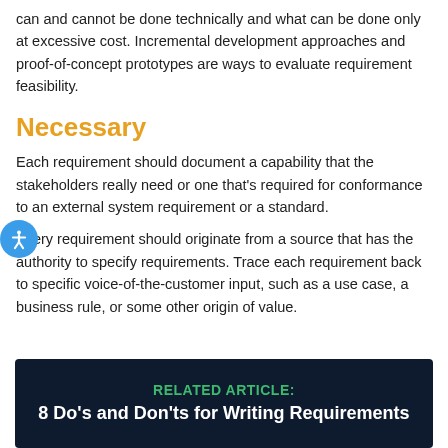can and cannot be done technically and what can be done only at excessive cost. Incremental development approaches and proof-of-concept prototypes are ways to evaluate requirement feasibility.
Necessary
Each requirement should document a capability that the stakeholders really need or one that's required for conformance to an external system requirement or a standard.
Every requirement should originate from a source that has the authority to specify requirements. Trace each requirement back to specific voice-of-the-customer input, such as a use case, a business rule, or some other origin of value.
[Figure (infographic): Dark navy blue box with text: RELATED ARTICLE: 8 Do's and Don'ts for Writing Requirements]